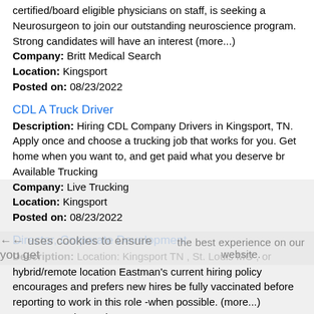certified/board eligible physicians on staff, is seeking a Neurosurgeon to join our outstanding neuroscience program. Strong candidates will have an interest (more...)
Company: Britt Medical Search
Location: Kingsport
Posted on: 08/23/2022
CDL A Truck Driver
Description: Hiring CDL Company Drivers in Kingsport, TN. Apply once and choose a trucking job that works for you. Get home when you want to, and get paid what you deserve br Available Trucking
Company: Live Trucking
Location: Kingsport
Posted on: 08/23/2022
Director, Corporate Development
Description: Location: Kingsport TN , St. Louis MO , or hybrid/remote location Eastman's current hiring policy encourages and prefers new hires be fully vaccinated before reporting to work in this role -when possible. (more...)
Company: Electronic Arts Inc.
Location: Kingsport
Posted on: 08/23/2022